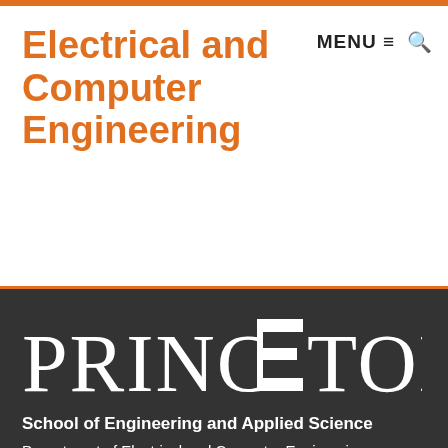Electrical and Computer Engineering
MENU ☰  🔍
[Figure (logo): Princeton University logo in large serif white text on dark background with stylized E in the center]
School of Engineering and Applied Science
Department of Electrical and Computer Engineering
Engineering Quadrangle
41 Olden Street
Princeton, New Jersey 08544